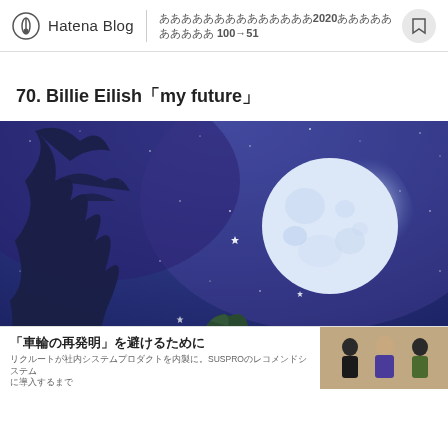Hatena Blog | ああああああああああああああ2020ああああああああああ 100→51
70. Billie Eilish「my future」
[Figure (illustration): Anime-style illustration of a figure with dark green hair viewed from behind, gazing at a large full moon in a starry night sky with a dark tree silhouette on the left]
「車輪の再発明」を避けるために リクルートが社内システムプロダクトを内製に。SUSPROのレコメンドシステムに導入するまで 詳しくはこちら >> 技術 はてにュード